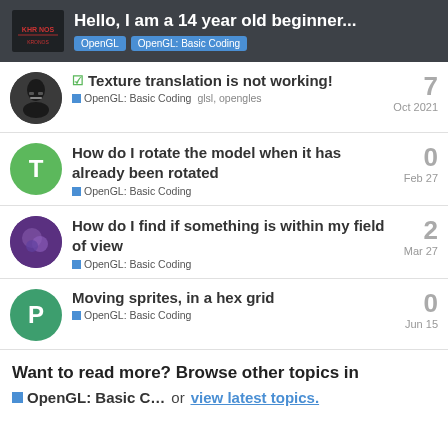Hello, I am a 14 year old beginner... — OpenGL / OpenGL: Basic Coding
Texture translation is not working! — OpenGL: Basic Coding — glsl, opengles — 7 replies — Oct 2021
How do I rotate the model when it has already been rotated — OpenGL: Basic Coding — 0 replies — Feb 27
How do I find if something is within my field of view — OpenGL: Basic Coding — 2 replies — Mar 27
Moving sprites, in a hex grid — OpenGL: Basic Coding — 0 replies — Jun 15
Want to read more? Browse other topics in OpenGL: Basic C... or view latest topics.